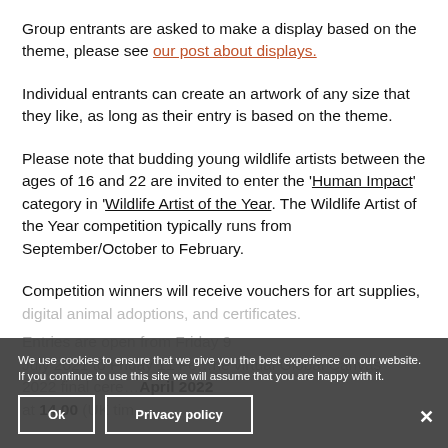Group entrants are asked to make a display based on the theme, please see our post about displays.
Individual entrants can create an artwork of any size that they like, as long as their entry is based on the theme.
Please note that budding young wildlife artists between the ages of 16 and 22 are invited to enter the 'Human Impact' category in 'Wildlife Artist of the Year. The Wildlife Artist of the Year competition typically runs from September/October to February.
Competition winners will receive vouchers for art supplies, digital animal adoptions, and certificates.
Entries are open from Friday 9 July 2021 to Friday 11 February ... the virtual Global Canvas 2022 final ceremony ... April 2022 at 14.00 (UK time) ...
We use cookies to ensure that we give you the best experience on our website. If you continue to use this site we will assume that you are happy with it.